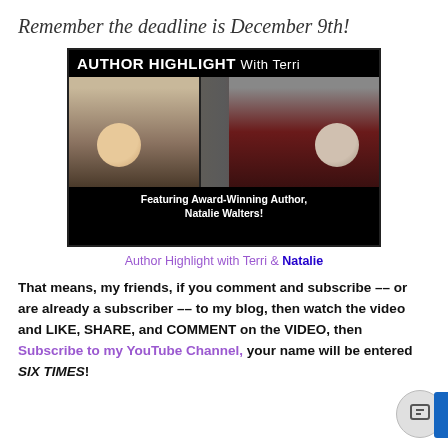Remember the deadline is December 9th!
[Figure (screenshot): Video thumbnail for 'Author Highlight With Terri' featuring two women on a video call, with caption 'Featuring Award-Winning Author, Natalie Walters!']
Author Highlight with Terri & Natalie
That means, my friends, if you comment and subscribe -- or are already a subscriber -- to my blog, then watch the video and LIKE, SHARE, and COMMENT on the VIDEO, then Subscribe to my YouTube Channel, your name will be entered SIX TIMES!